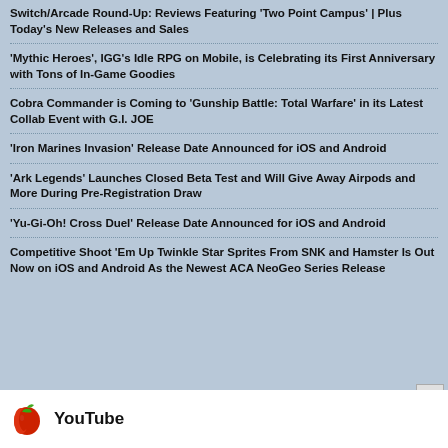Switch/Arcade Round-Up: Reviews Featuring 'Two Point Campus' | Plus Today's New Releases and Sales
'Mythic Heroes', IGG's Idle RPG on Mobile, is Celebrating its First Anniversary with Tons of In-Game Goodies
Cobra Commander is Coming to 'Gunship Battle: Total Warfare' in its Latest Collab Event with G.I. JOE
'Iron Marines Invasion' Release Date Announced for iOS and Android
'Ark Legends' Launches Closed Beta Test and Will Give Away Airpods and More During Pre-Registration Draw
'Yu-Gi-Oh! Cross Duel' Release Date Announced for iOS and Android
Competitive Shoot 'Em Up Twinkle Star Sprites From SNK and Hamster Is Out Now on iOS and Android As the Newest ACA NeoGeo Series Release
[Figure (logo): YouTube logo with apple icon and 'YouTube' text label in footer bar]